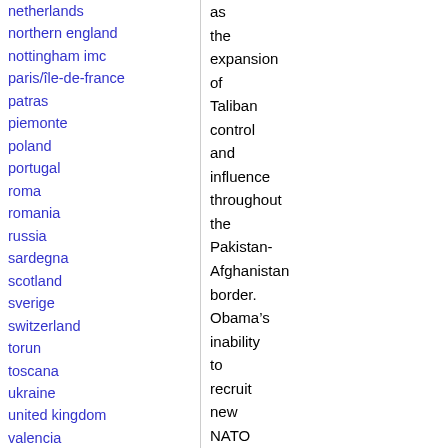netherlands
northern england
nottingham imc
paris/île-de-france
patras
piemonte
poland
portugal
roma
romania
russia
sardegna
scotland
sverige
switzerland
torun
toscana
ukraine
united kingdom
valencia
Latin America
argentina
bolivia
chiapas
chile
chile sur
as the expansion of Taliban control and influence throughout the Pakistan-Afghanistan border. Obama’s inability to recruit new NATO reinforcements means that the White House’s only chance